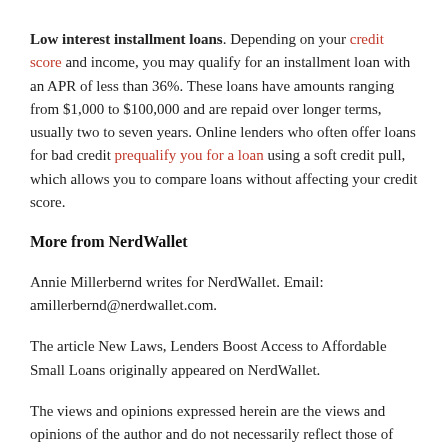Low interest installment loans. Depending on your credit score and income, you may qualify for an installment loan with an APR of less than 36%. These loans have amounts ranging from $1,000 to $100,000 and are repaid over longer terms, usually two to seven years. Online lenders who often offer loans for bad credit prequalify you for a loan using a soft credit pull, which allows you to compare loans without affecting your credit score.
More from NerdWallet
Annie Millerbernd writes for NerdWallet. Email: amillerbernd@nerdwallet.com.
The article New Laws, Lenders Boost Access to Affordable Small Loans originally appeared on NerdWallet.
The views and opinions expressed herein are the views and opinions of the author and do not necessarily reflect those of